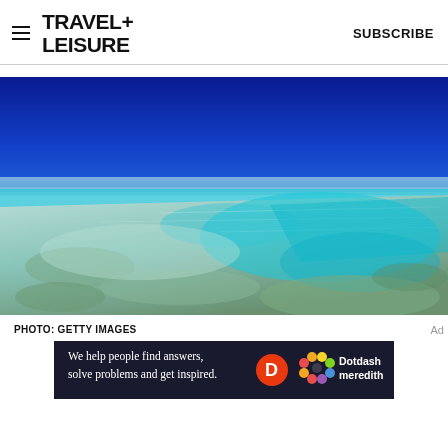TRAVEL+ LEISURE    SUBSCRIBE
[Figure (photo): Aerial/low-angle photograph of a coral reef and shallow turquoise ocean water under a vivid deep blue sky. The shallow sandy reef areas contrast with deeper vibrant teal and turquoise water patches.]
PHOTO: GETTY IMAGES
[Figure (other): Advertisement banner: dark navy background with text 'We help people find answers, solve problems and get inspired.' alongside a red circle D logo and Dotdash Meredith colorful flower logo and wordmark.]